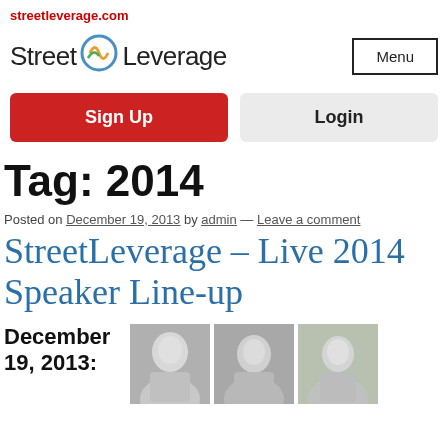streetleverage.com
[Figure (logo): Street Leverage logo with circular icon and text]
Menu
Sign Up
Login
Tag: 2014
Posted on December 19, 2013 by admin — Leave a comment
StreetLeverage – Live 2014 Speaker Line-up
December 19, 2013:
[Figure (photo): Three black and white headshot photos of speakers]
December 19, 2013: